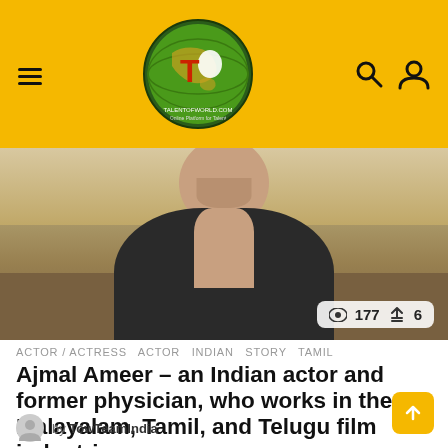[Figure (logo): TalentOfWorld.com website header with yellow background, hamburger menu icon on left, circular green globe logo with red T in center, search and user icons on right]
[Figure (photo): Indian male actor wearing a black leather jacket, outdoors with dry grass background, view count badge showing 177 views and 6 shares]
ACTOR / ACTRESS  ACTOR  INDIAN  STORY  TAMIL
Ajmal Ameer – an Indian actor and former physician, who works in the Malayalam, Tamil, and Telugu film industries.
by TowTeamIndia